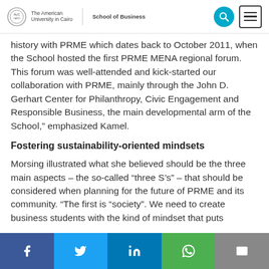The American University in Cairo | School of Business
history with PRME which dates back to October 2011, when the School hosted the first PRME MENA regional forum. This forum was well-attended and kick-started our collaboration with PRME, mainly through the John D. Gerhart Center for Philanthropy, Civic Engagement and Responsible Business, the main developmental arm of the School,” emphasized Kamel.
Fostering sustainability-oriented mindsets
Morsing illustrated what she believed should be the three main aspects – the so-called “three S’s” – that should be considered when planning for the future of PRME and its community. “The first is “society”. We need to create business students with the kind of mindset that puts
Facebook | Twitter | LinkedIn | WhatsApp | Email